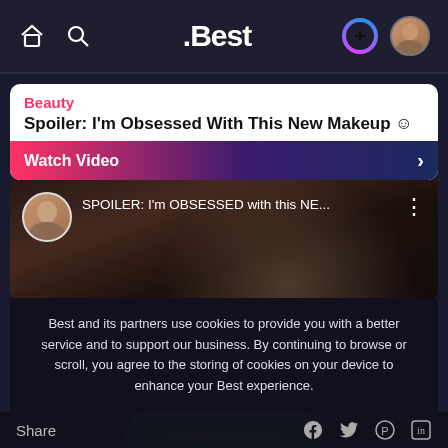.Best
Beauty
Spoiler: I'm Obsessed With This New Makeup ☺
Watch Video
[Figure (screenshot): Video thumbnail showing a woman holding a makeup palette with video title overlay: SPOILER: I'm OBSESSED with this NE...]
Best and its partners use cookies to provide you with a better service and to support our business. By continuing to browse or scroll, you agree to the storing of cookies on your device to enhance your Best experience.
Accept cookies
Only essentials
Share   Learn more about our privacy policy.